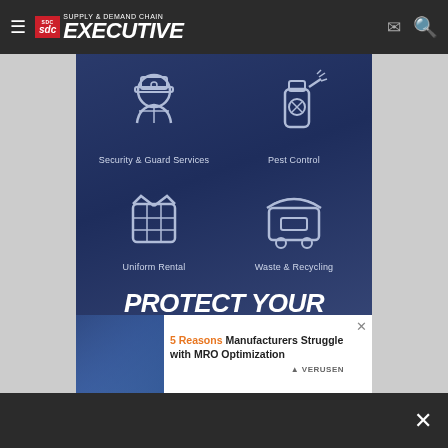Supply & Demand Chain Executive
[Figure (infographic): Advertisement banner with dark blue background showing four service icons: Security & Guard Services (officer icon), Pest Control (spray canister icon), Uniform Rental (jacket icon), Waste & Recycling (dumpster icon). Large italic bold text reads PROTECT YOUR EFFORTS NOW with a green learn more button below.]
[Figure (infographic): Secondary advertisement banner: 5 Reasons Manufacturers Struggle with MRO Optimization. Verusen brand logo. Image of person in industrial setting on left.]
Close button (X)